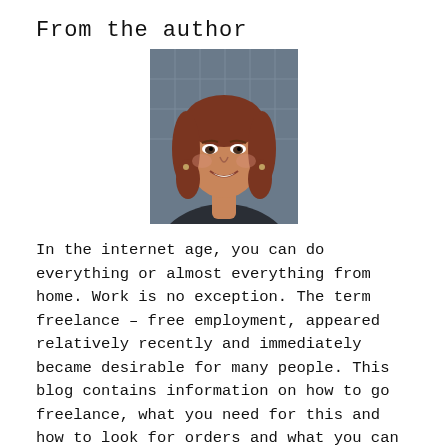From the author
[Figure (photo): Headshot of a middle-aged woman with auburn shoulder-length hair, smiling, wearing dark clothing, with a blurred indoor background.]
In the internet age, you can do everything or almost everything from home. Work is no exception. The term freelance – free employment, appeared relatively recently and immediately became desirable for many people. This blog contains information on how to go freelance, what you need for this and how to look for orders and what you can do in general.